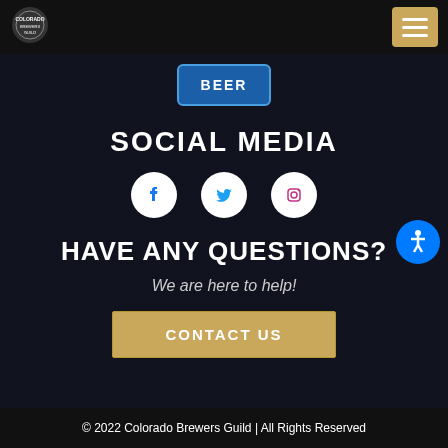[Figure (logo): Colorado Brewers Guild circular logo]
[Figure (illustration): Hamburger menu icon button (tan/gold background) in top-right nav]
[Figure (photo): Dark background photo of craft beer glasses with Colorado craft beer labels, heavily darkened overlay]
BEER
SOCIAL MEDIA
[Figure (infographic): Three social media icons: Facebook circle, Twitter bird, Instagram camera — white icons on white circles]
HAVE ANY QUESTIONS?
We are here to help!
CONTACT US
[Figure (infographic): Blue circular accessibility (wheelchair) icon button on right side]
© 2022 Colorado Brewers Guild | All Rights Reserved